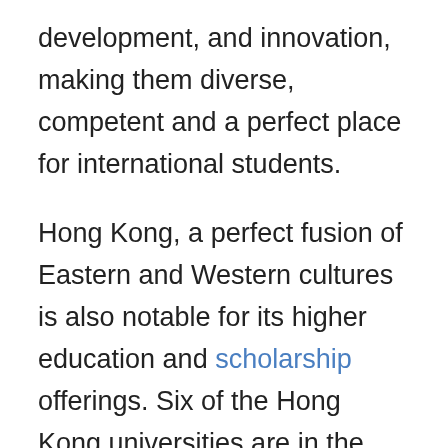development, and innovation, making them diverse, competent and a perfect place for international students.
Hong Kong, a perfect fusion of Eastern and Western cultures is also notable for its higher education and scholarship offerings. Six of the Hong Kong universities are in the QS world university rankings which makes it a hotshot for those students who want to earn a professional degree from a well-known institution. But, before we dive into the scholarships available in Hong Kong, let's take